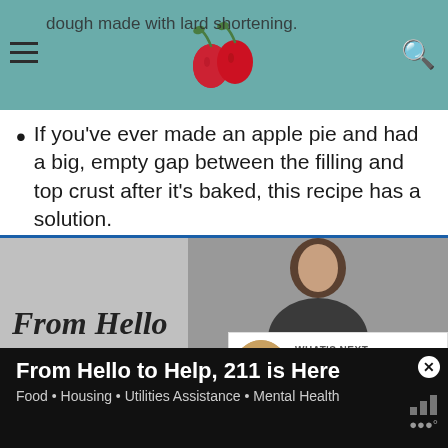dough made with lard shortening.
If you've ever made an apple pie and had a big, empty gap between the filling and top crust after it's baked, this recipe has a solution.
Precooking your apples helps prevent the shrinking of the filling that occurs when you bake with raw apple slices. It's that shrinking of the filling that creates the unwanted space under the top crust.
[Figure (screenshot): What's Next panel showing Deep Dish Apple Pie thumbnail]
[Figure (screenshot): Video preview showing 'From Hello' text]
From Hello to Help, 211 is Here
Food • Housing • Utilities Assistance • Mental Health